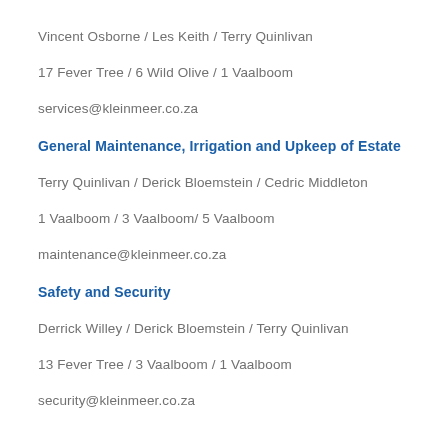Vincent Osborne / Les Keith / Terry Quinlivan
17 Fever Tree / 6 Wild Olive / 1 Vaalboom
services@kleinmeer.co.za
General Maintenance, Irrigation and Upkeep of Estate
Terry Quinlivan / Derick Bloemstein / Cedric Middleton
1 Vaalboom / 3 Vaalboom/ 5 Vaalboom
maintenance@kleinmeer.co.za
Safety and Security
Derrick Willey / Derick Bloemstein / Terry Quinlivan
13 Fever Tree / 3 Vaalboom / 1 Vaalboom
security@kleinmeer.co.za